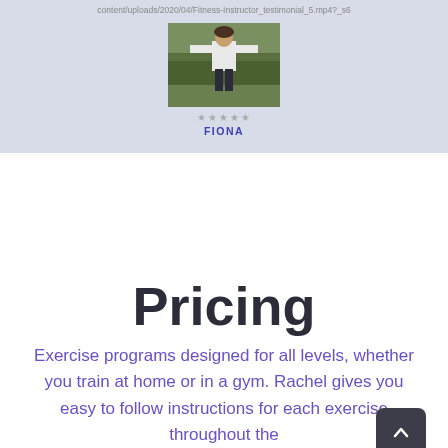content/uploads/2020/04/Fitness-Instructor_testimonial_5.mp4?_s6
[Figure (photo): Video thumbnail showing a person outdoors wearing a white top and dark leggings, with trees in the background]
★★★★★
FIONA
Pricing
Exercise programs designed for all levels, whether you train at home or in a gym. Rachel gives you easy to follow instructions for each exercise throughout the